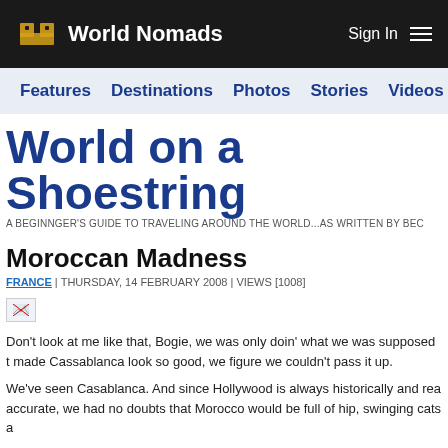World Nomads | Sign In
Features | Destinations | Photos | Stories | Videos | Ta
World on a Shoestring
A BEGINNGER'S GUIDE TO TRAVELING AROUND THE WORLD...AS WRITTEN BY BEC
Moroccan Madness
FRANCE | THURSDAY, 14 FEBRUARY 2008 | VIEWS [1008]
[Figure (photo): Small broken/loading image thumbnail]
Don't look at me like that, Bogie, we was only doin' what we was supposed t made Cassablanca look so good, we figure we couldn't pass it up.
We've seen Casablanca. And since Hollywood is always historically and rea accurate, we had no doubts that Morocco would be full of hip, swinging cats a